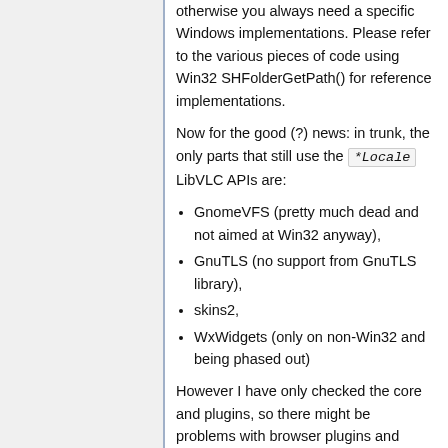otherwise you always need a specific Windows implementations. Please refer to the various pieces of code using Win32 SHFolderGetPath() for reference implementations.
Now for the good (?) news: in trunk, the only parts that still use the *Locale LibVLC APIs are:
GnomeVFS (pretty much dead and not aimed at Win32 anyway),
GnuTLS (no support from GnuTLS library),
skins2,
WxWidgets (only on non-Win32 and being phased out)
However I have only checked the core and plugins, so there might be problems with browser plugins and bindings. Also, if you intend to write new plugins, please